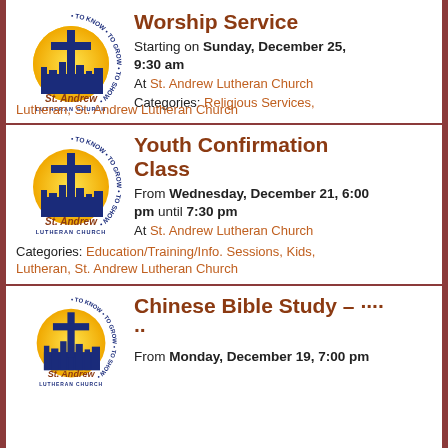Worship Service
Starting on Sunday, December 25, 9:30 am
At St. Andrew Lutheran Church
Categories: Religious Services, Lutheran, St. Andrew Lutheran Church
Youth Confirmation Class
From Wednesday, December 21, 6:00 pm until 7:30 pm
At St. Andrew Lutheran Church
Categories: Education/Training/Info. Sessions, Kids, Lutheran, St. Andrew Lutheran Church
Chinese Bible Study - ····  ··
From Monday, December 19, 7:00 pm